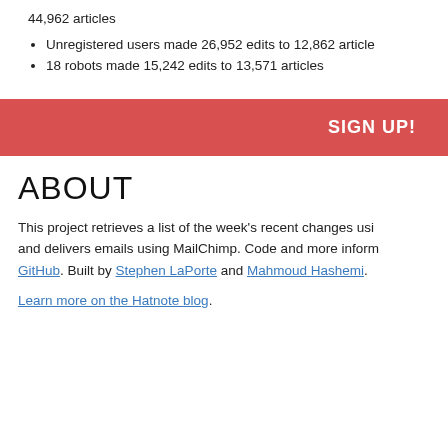44,962 articles
Unregistered users made 26,952 edits to 12,862 articles
18 robots made 15,242 edits to 13,571 articles
[Figure (other): SIGN UP! call-to-action banner with red background]
ABOUT
This project retrieves a list of the week's recent changes using and delivers emails using MailChimp. Code and more information on GitHub. Built by Stephen LaPorte and Mahmoud Hashemi.
Learn more on the Hatnote blog.